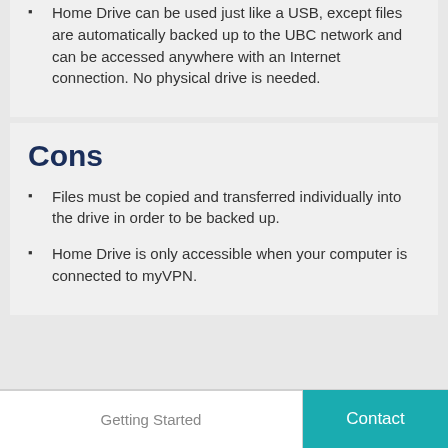Home Drive can be used just like a USB, except files are automatically backed up to the UBC network and can be accessed anywhere with an Internet connection. No physical drive is needed.
Cons
Files must be copied and transferred individually into the drive in order to be backed up.
Home Drive is only accessible when your computer is connected to myVPN.
Getting Started  Contact